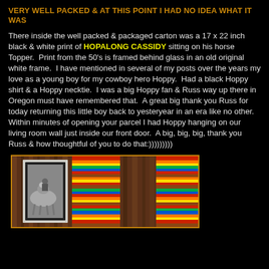VERY WELL PACKED & AT THIS POINT I HAD NO IDEA WHAT IT WAS
There inside the well packed & packaged carton was a 17 x 22 inch black & white print of HOPALONG CASSIDY sitting on his horse Topper.  Print from the 50's is framed behind glass in an old original white frame.  I have mentioned in several of my posts over the years my love as a young boy for my cowboy hero Hoppy.  Had a black Hoppy shirt & a Hoppy necktie.  I was a big Hoppy fan & Russ way up there in Oregon must have remembered that.  A great big thank you Russ for today returning this little boy back to yesteryear in an era like no other.  Within minutes of opening your parcel I had Hoppy hanging on our living room wall just inside our front door.  A big, big, big, thank you Russ & how thoughtful of you to do that:)))))))))
[Figure (photo): Photo of a living room wall showing a framed black and white print (likely Hopalong Cassidy on a horse) on the left, and colorful striped blankets/serapes hanging on the right, against a wood-paneled wall.]